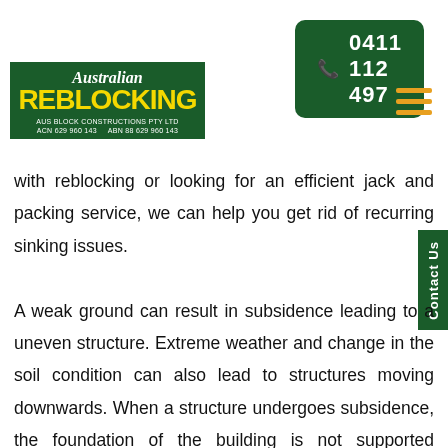0411 112 497
[Figure (logo): Australian Reblocking logo — green background with 'Australian' in white italic script and 'REBLOCKING' in yellow bold uppercase, with 'AUS BLOCK CONSTRUCTIONS PTY LTD' and ACN/ABN details below]
with reblocking or looking for an efficient jack and packing service, we can help you get rid of recurring sinking issues.
A weak ground can result in subsidence leading to a uneven structure. Extreme weather and change in the soil condition can also lead to structures moving downwards. When a structure undergoes subsidence, the foundation of the building is not supported correctly and can cause structural damages. With our